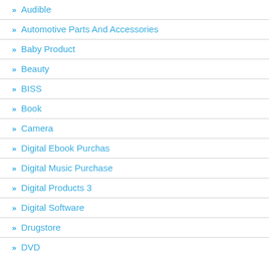Audible
Automotive Parts And Accessories
Baby Product
Beauty
BISS
Book
Camera
Digital Ebook Purchas
Digital Music Purchase
Digital Products 3
Digital Software
Drugstore
DVD